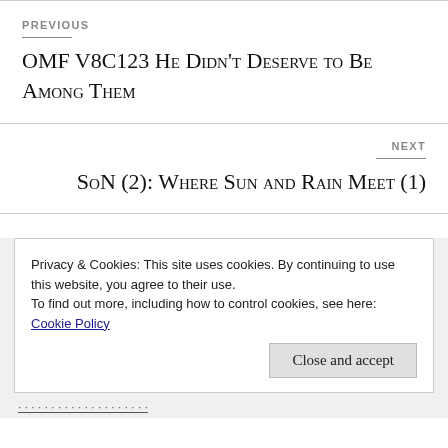PREVIOUS
OMF V8C123 He Didn't Deserve to Be Among Them
NEXT
SoN (2): Where Sun and Rain Meet (1)
Privacy & Cookies: This site uses cookies. By continuing to use this website, you agree to their use.
To find out more, including how to control cookies, see here: Cookie Policy
Close and accept